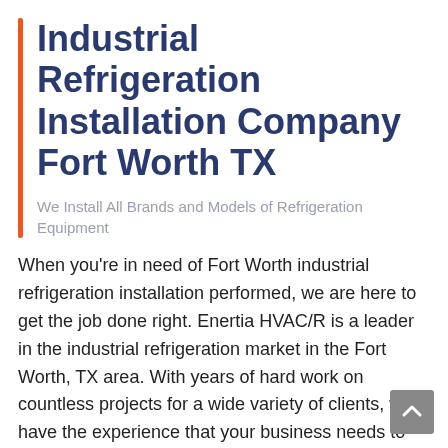Industrial Refrigeration Installation Company Fort Worth TX
We Install All Brands and Models of Refrigeration Equipment
When you're in need of Fort Worth industrial refrigeration installation performed, we are here to get the job done right. Enertia HVAC/R is a leader in the industrial refrigeration market in the Fort Worth, TX area. With years of hard work on countless projects for a wide variety of clients, we have the experience that your business needs to deliver. Our team provides all types of refrigeration and HVAC services including installation, service, repair and maintenance.